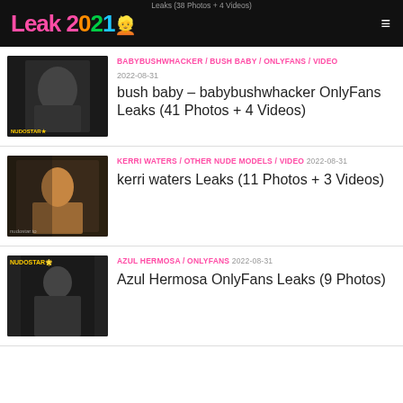Leak 2021 [logo]
Leaks (38 Photos + 4 Videos)
BABYBUSHWHACKER / BUSH BABY / ONLYFANS / VIDEO 2022-08-31 bush baby – babybushwhacker OnlyFans Leaks (41 Photos + 4 Videos)
KERRI WATERS / OTHER NUDE MODELS / VIDEO 2022-08-31 kerri waters Leaks (11 Photos + 3 Videos)
AZUL HERMOSA / ONLYFANS 2022-08-31 Azul Hermosa OnlyFans Leaks (9 Photos)